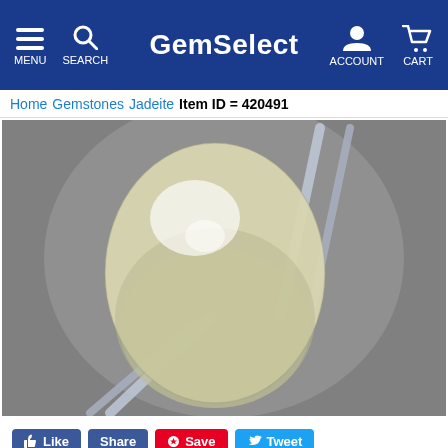GemSelect — MENU SEARCH ACCOUNT CART
Home > Gemstones > Jadeite  Item ID = 420491
[Figure (photo): Close-up photograph of an oval-shaped jadeite cabochon gemstone held by metal tweezers against a gray background. The stone is pale white/cream with slight greenish-yellow tones and a polished, domed surface.]
Like  Share  Save  Tweet